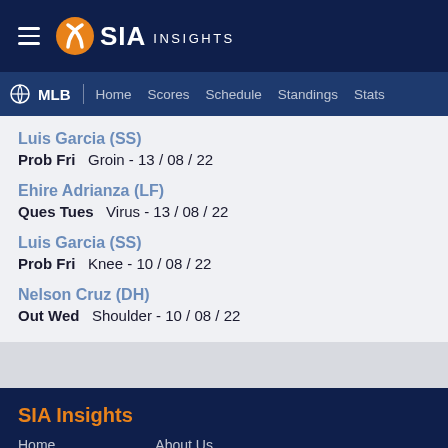SIA INSIGHTS
MLB  Home  Scores  Schedule  Standings  Stats
Luis Garcia (SS)
Prob Fri   Groin - 13 / 08 / 22
Ehire Adrianza (LF)
Ques Tues   Virus - 13 / 08 / 22
Luis Garcia (SS)
Prob Fri   Knee - 10 / 08 / 22
Nelson Cruz (DH)
Out Wed   Shoulder - 10 / 08 / 22
SIA Insights
Home    About Us